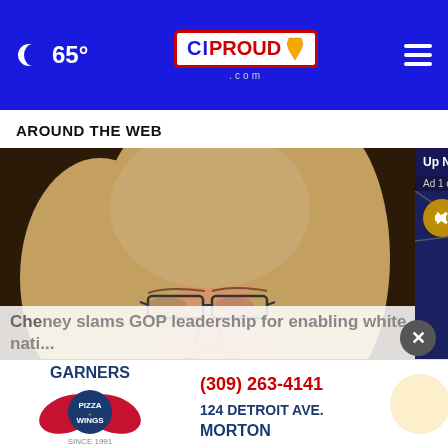🌙 65° | CIProud.com
AROUND THE WEB
[Figure (screenshot): Video overlay popup showing 'Up Next - Dodgers vs. Mets Highlig...' with Ad 1 of 1 (0:30) label and mute button, overlaid on baseball logos]
[Figure (photo): Woman with glasses and blonde hair seated at a committee table, looking stern]
Cheney slams GOP leadership for enabling white nati...
[Figure (other): Garners Pizza & Wings advertisement: (309) 263-4141, 124 Detroit Ave., Morton, Since 1991]
× close button circle